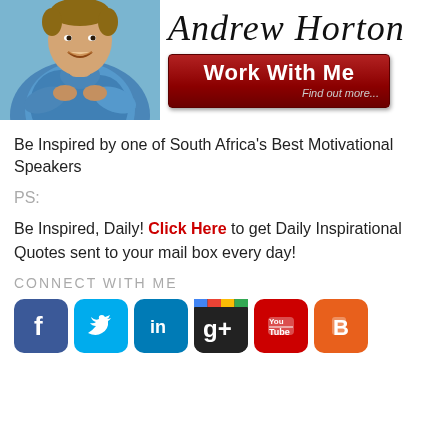[Figure (photo): Photo of Andrew Horton, man in blue patterned shirt with arms crossed, smiling]
Andrew Horton
[Figure (other): Work With Me button - red banner with white bold text 'Work With Me' and grey text 'Find out more...']
Be Inspired by one of South Africa's Best Motivational Speakers
PS:
Be Inspired, Daily! Click Here to get Daily Inspirational Quotes sent to your mail box every day!
CONNECT WITH ME
[Figure (infographic): Social media icons: Facebook, Twitter, LinkedIn, Google+, YouTube, Blogger]